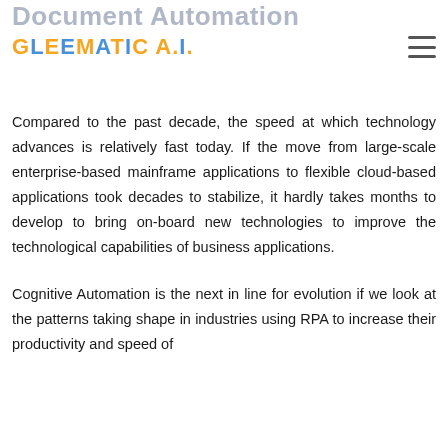GLEEMATIC A.I.
Document Automation Intelligent.
Compared to the past decade, the speed at which technology advances is relatively fast today. If the move from large-scale enterprise-based mainframe applications to flexible cloud-based applications took decades to stabilize, it hardly takes months to develop to bring on-board new technologies to improve the technological capabilities of business applications.
Cognitive Automation is the next in line for evolution if we look at the patterns taking shape in industries using RPA to increase their productivity and speed of